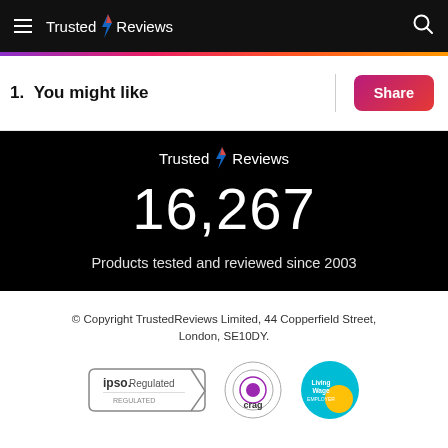Trusted Reviews
1. You might like
[Figure (infographic): Trusted Reviews logo with lightning bolt, large number 16,267, and text 'Products tested and reviewed since 2003' on black background]
© Copyright TrustedReviews Limited, 44 Copperfield Street, London, SE10DY.
[Figure (logo): IPSO Regulated badge, Crag logo, and Living Wage employer logos]